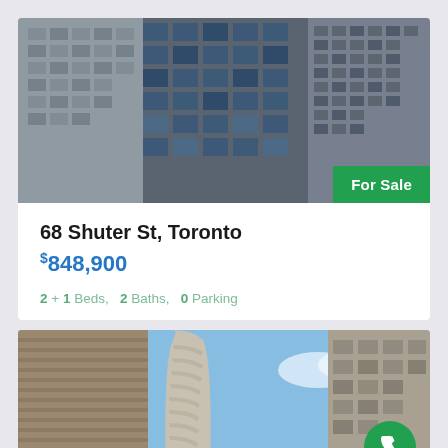[Figure (photo): Upward-angle photo of downtown Toronto office/condo towers with dark glass and concrete facades, with a 'For Sale' green badge in the bottom right corner.]
68 Shuter St, Toronto
$848,900
2 + 1 Beds,  2 Baths,  0 Parking
[Figure (photo): Upward-angle photo of a curved glass skyscraper tower in Toronto with blue sky background and adjacent building facades.]